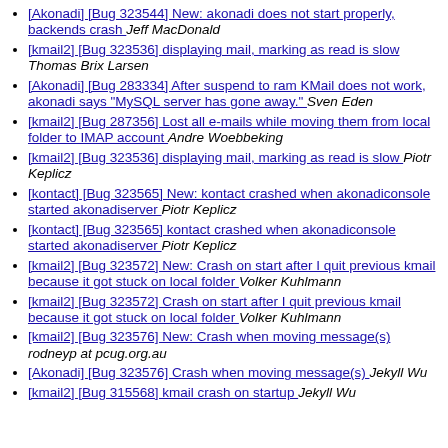[Akonadi] [Bug 323544] New: akonadi does not start properly, backends crash   Jeff MacDonald
[kmail2] [Bug 323536] displaying mail, marking as read is slow   Thomas Brix Larsen
[Akonadi] [Bug 283334] After suspend to ram KMail does not work, akonadi says "MySQL server has gone away."   Sven Eden
[kmail2] [Bug 287356] Lost all e-mails while moving them from local folder to IMAP account   Andre Woebbeking
[kmail2] [Bug 323536] displaying mail, marking as read is slow   Piotr Keplicz
[kontact] [Bug 323565] New: kontact crashed when akonadiconsole started akonadiserver   Piotr Keplicz
[kontact] [Bug 323565] kontact crashed when akonadiconsole started akonadiserver   Piotr Keplicz
[kmail2] [Bug 323572] New: Crash on start after I quit previous kmail because it got stuck on local folder   Volker Kuhlmann
[kmail2] [Bug 323572] Crash on start after I quit previous kmail because it got stuck on local folder   Volker Kuhlmann
[kmail2] [Bug 323576] New: Crash when moving message(s)   rodneyp at pcug.org.au
[Akonadi] [Bug 323576] Crash when moving message(s)   Jekyll Wu
[kmail2] [Bug 315568] kmail crash on startup   Jekyll Wu